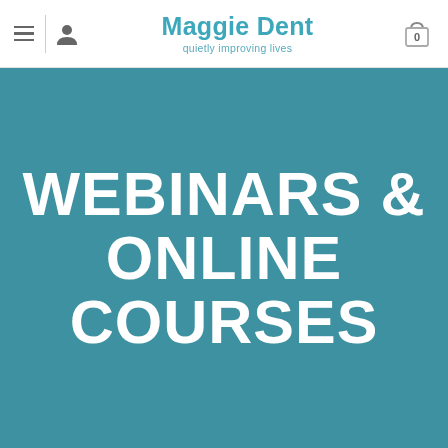Maggie Dent — quietly improving lives
[Figure (screenshot): Website header banner with teal background and bold white text reading WEBINARS & ONLINE COURSES]